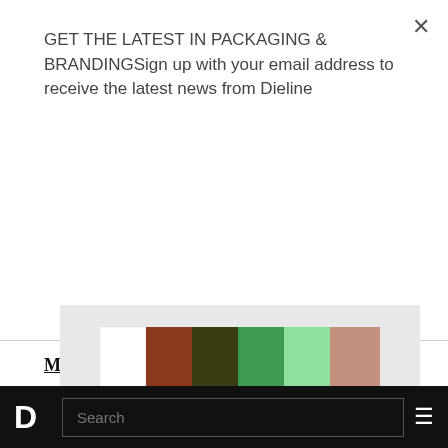GET THE LATEST IN PACKAGING & BRANDINGSign up with your email address to receive the latest news from Dieline
Subscribe
More posts from Andrew Gibbs
[Figure (illustration): A color palette swatch strip showing six colors: white, terracotta/rust red, dark olive green, medium green, light mint green, and muted rose/dusty pink, displayed on a light gray background.]
D  [Search box]  ≡